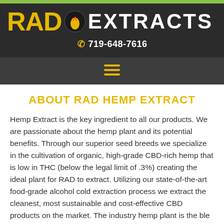[Figure (logo): RAD Extracts logo with yellow RAD text, flame droplet icon, and white EXTRACTS text on dark background]
719-648-7616
[Figure (other): Hamburger menu icon with three yellow horizontal lines]
ABOUT RAD HEMP EXTRACT
Hemp Extract is the key ingredient to all our products. We are passionate about the hemp plant and its potential benefits. Through our superior seed breeds we specialize in the cultivation of organic, high-grade CBD-rich hemp that is low in THC (below the legal limit of .3%) creating the ideal plant for RAD to extract. Utilizing our state-of-the-art food-grade alcohol cold extraction process we extract the cleanest, most sustainable and cost-effective CBD products on the market. The industry hemp plant is the ble to...